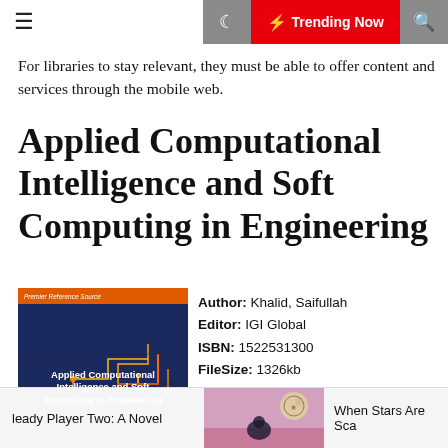☰  🌙  ⚡ Trending Now  🔍
For libraries to stay relevant, they must be able to offer content and services through the mobile web.
Applied Computational Intelligence and Soft Computing in Engineering
[Figure (illustration): Book cover of Applied Computational Intelligence and Soft Computing in Engineering. Orange banner at top reading Premier Reference Source, dark blue background with circuit board imagery, white title text.]
Author: Khalid, Saifullah
Editor: IGI Global
ISBN: 1522531300
FileSize: 1326kb
File Format: Pdf
Read: 1326
READ BOOK
leady Player Two: A Novel    When Stars Are Sca